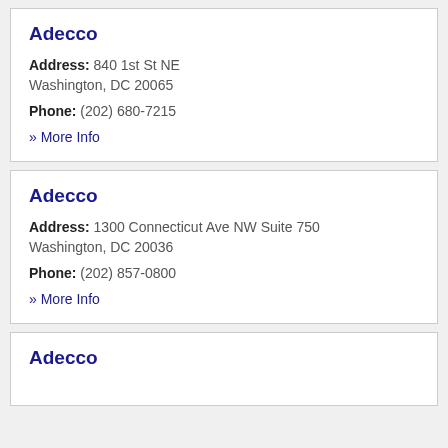Adecco
Address: 840 1st St NE Washington, DC 20065
Phone: (202) 680-7215
» More Info
Adecco
Address: 1300 Connecticut Ave NW Suite 750 Washington, DC 20036
Phone: (202) 857-0800
» More Info
Adecco